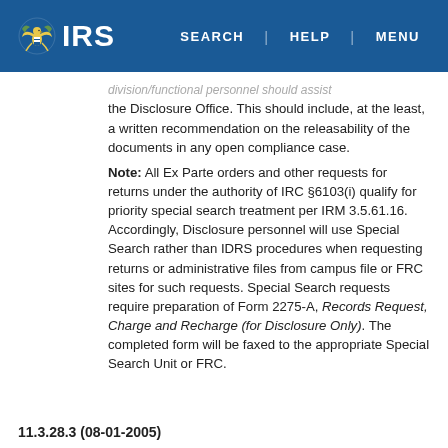IRS | SEARCH | HELP | MENU
division/functional personnel should assist the Disclosure Office. This should include, at the least, a written recommendation on the releasability of the documents in any open compliance case.
Note: All Ex Parte orders and other requests for returns under the authority of IRC §6103(i) qualify for priority special search treatment per IRM 3.5.61.16. Accordingly, Disclosure personnel will use Special Search rather than IDRS procedures when requesting returns or administrative files from campus file or FRC sites for such requests. Special Search requests require preparation of Form 2275-A, Records Request, Charge and Recharge (for Disclosure Only). The completed form will be faxed to the appropriate Special Search Unit or FRC.
11.3.28.3 (08-01-2005)